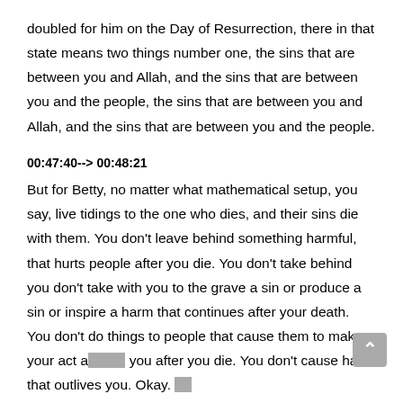doubled for him on the Day of Resurrection, there in that state means two things number one, the sins that are between you and Allah, and the sins that are between you and the people, the sins that are between you and Allah, and the sins that are between you and the people.
00:47:40--> 00:48:21
But for Betty, no matter what mathematical setup, you say, live tidings to the one who dies, and their sins die with them. You don't leave behind something harmful, that hurts people after you die. You don't take behind you don't take with you to the grave a sin or produce a sin or inspire a harm that continues after your death. You don't do things to people that cause them to make your act against you after you die. You don't cause harm that outlives you. Okay. So glad tidings to the one who dies in their sins die with them. They're